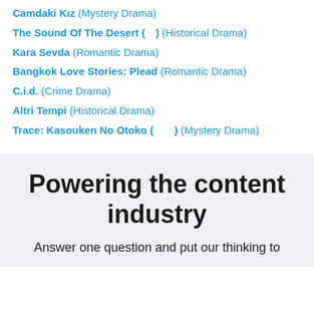Camdaki Kız (Mystery Drama)
The Sound Of The Desert (　) (Historical Drama)
Kara Sevda (Romantic Drama)
Bangkok Love Stories: Plead (Romantic Drama)
C.i.d. (Crime Drama)
Altri Tempi (Historical Drama)
Trace: Kasouken No Otoko (　　) (Mystery Drama)
Powering the content industry
Answer one question and put our thinking to